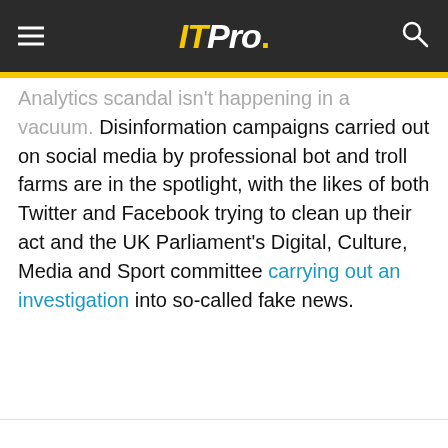IT Pro.
Analytics scandal isn't happening in a vacuum. Disinformation campaigns carried out on social media by professional bot and troll farms are in the spotlight, with the likes of both Twitter and Facebook trying to clean up their act and the UK Parliament's Digital, Culture, Media and Sport committee carrying out an investigation into so-called fake news.